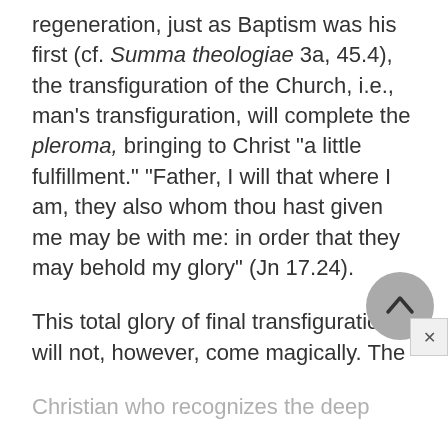regeneration, just as Baptism was his first (cf. Summa theologiae 3a, 45.4), the transfiguration of the Church, i.e., man's transfiguration, will complete the pleroma, bringing to Christ "a little fulfillment." "Father, I will that where I am, they also whom thou hast given me may be with me: in order that they may behold my glory" (Jn 17.24).
This total glory of final transfiguration will not, however, come magically. The
Christian who recognizes the deep